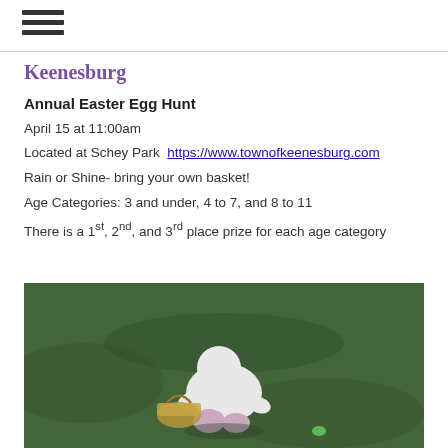≡ (hamburger menu)
Keenesburg
Annual Easter Egg Hunt
April 15 at 11:00am
Located at Schey Park  https://www.townofkeenesburg.com
Rain or Shine- bring your own basket!
Age Categories: 3 and under, 4 to 7, and 8 to 11
There is a 1st, 2nd, and 3rd place prize for each age category
[Figure (photo): Child in white hooded outfit bending down on grass, apparently searching for Easter eggs, with a wicker basket visible nearby.]